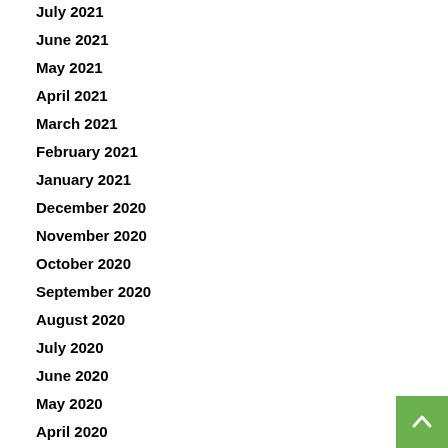July 2021
June 2021
May 2021
April 2021
March 2021
February 2021
January 2021
December 2020
November 2020
October 2020
September 2020
August 2020
July 2020
June 2020
May 2020
April 2020